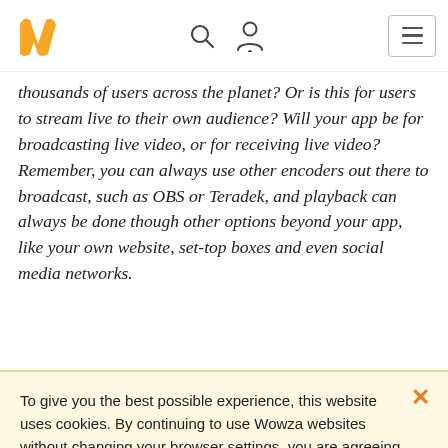[Wowza logo, search icon, user icon, hamburger menu]
thousands of users across the planet? Or is this for users to stream live to their own audience? Will your app be for broadcasting live video, or for receiving live video? Remember, you can always use other encoders out there to broadcast, such as OBS or Teradek, and playback can always be done though other options beyond your app, like your own website, set-top boxes and even social media networks.
To give you the best possible experience, this website uses cookies. By continuing to use Wowza websites without changing your browser settings, you are agreeing to our use of cookies.

I agree | Learn more about our cookies policy.
testing, using the sandbox doesn't incur costs against your account or any limits you may have. Anything you create there won't be functioning, but will give proper